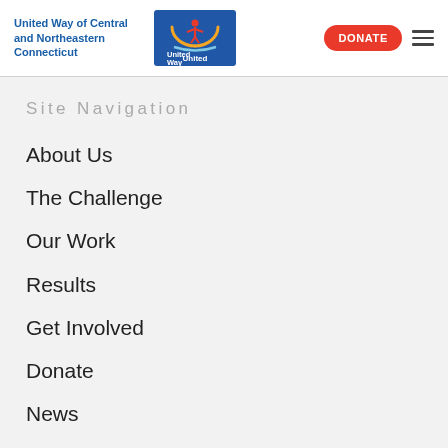United Way of Central and Northeastern Connecticut
[Figure (logo): United Way logo with blue background, orange arc and figure, text 'United Way']
Site Navigation
About Us
The Challenge
Our Work
Results
Get Involved
Donate
News
Quick Links